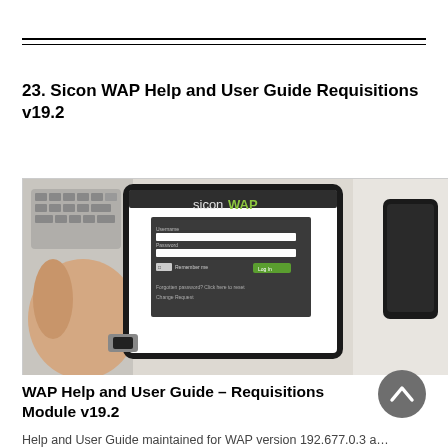23. Sicon WAP Help and User Guide Requisitions v19.2
[Figure (screenshot): Screenshot of SiconWAP application login screen shown on a tablet held by hands, and a smartphone on the right side]
WAP Help and User Guide – Requisitions Module v19.2
Help and User Guide maintained for WAP version 192.677.0.3 a...